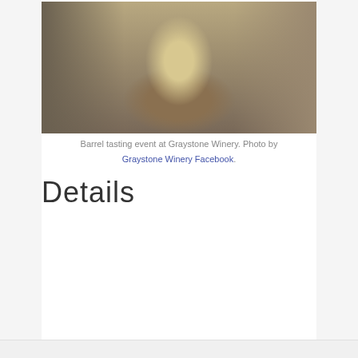[Figure (photo): Interior of Graystone Winery during a barrel tasting event. A round wooden table in the center holds food items including what appears to be a white frosted cake and a plate with fruit. Behind the table is a large metal barrel or urn. Shelves with products and wine bottles are visible on the left and right sides of the shop.]
Barrel tasting event at Graystone Winery. Photo by Graystone Winery Facebook.
Details